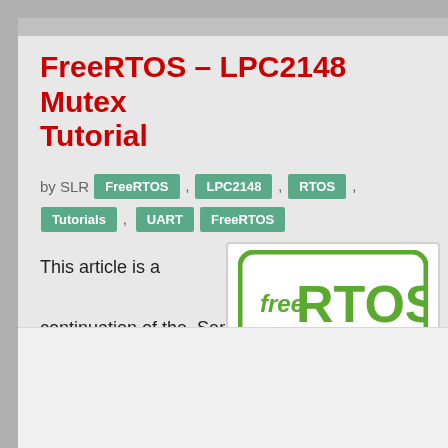FreeRTOS – LPC2148 Mutex Tutorial
by SLR
FreeRTOS
LPC2148
RTOS
Tutorials
UART
FreeRTOS
This article is a continuation of the  Series on FreeRTOS and carries
[Figure (logo): FreeRTOS logo with 'free' in small text and 'RTOS' in large green text, with a black underline, inside a rounded rectangle border. Caption below reads 'Mutex Tutorial'.]